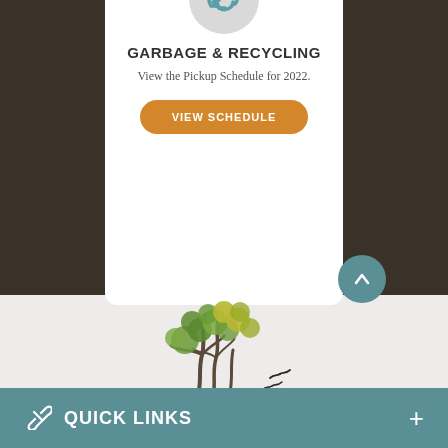[Figure (illustration): Recycling arrows icon in a circle at top of white card]
GARBAGE & RECYCLING
View the Pickup Schedule for 2022.
VIEW SCHEDULE
[Figure (illustration): Nature illustration with trees and birds flying]
QUICK LINKS